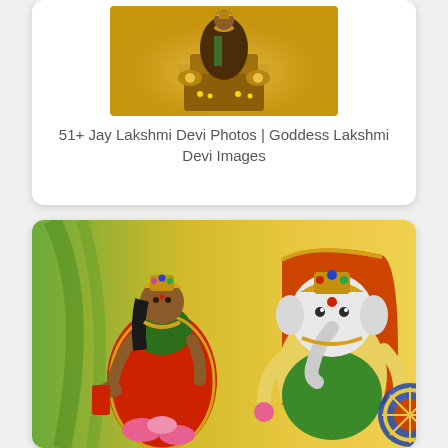[Figure (photo): Hindu goddess Lakshmi seated on a throne with golden decorations and offerings, religious illustration on golden background]
51+ Jay Lakshmi Devi Photos | Goddess Lakshmi Devi Images
[Figure (photo): Hindu goddess Lakshmi in red saree with gold jewelry seated on lotus flowers beside Lord Ganesha on decorated throne, colorful religious illustration]